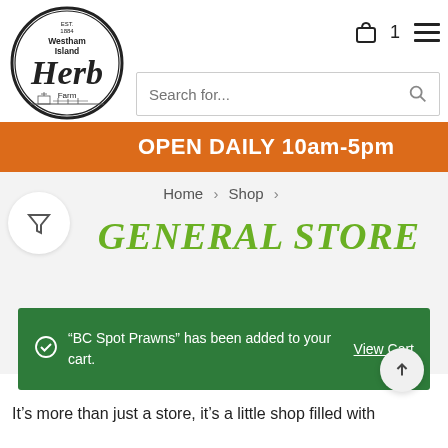[Figure (logo): Westham Island Herb Farm oval logo with farm scene and stylized 'Herb' text]
Search for...
OPEN DAILY 10am-5pm
Home > Shop >
GENERAL STORE
"BC Spot Prawns" has been added to your cart.
View Cart
It's more than just a store, it's a little shop filled with